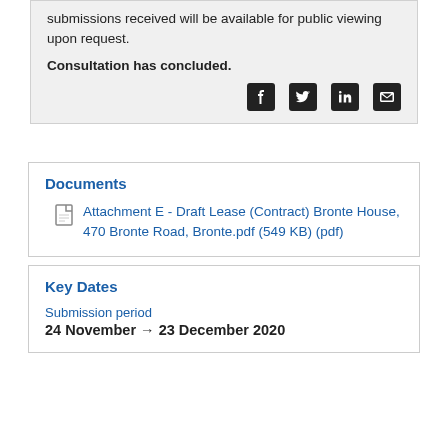submissions received will be available for public viewing upon request.
Consultation has concluded.
[Figure (other): Social media share icons: Facebook, Twitter, LinkedIn, Email]
Documents
Attachment E - Draft Lease (Contract) Bronte House, 470 Bronte Road, Bronte.pdf (549 KB) (pdf)
Key Dates
Submission period
24 November → 23 December 2020